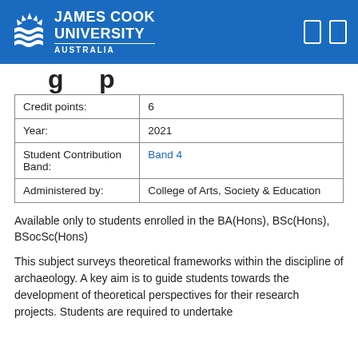James Cook University Australia
|  |  |
| --- | --- |
| Credit points: | 6 |
| Year: | 2021 |
| Student Contribution Band: | Band 4 |
| Administered by: | College of Arts, Society & Education |
Available only to students enrolled in the BA(Hons), BSc(Hons), BSocSc(Hons)
This subject surveys theoretical frameworks within the discipline of archaeology. A key aim is to guide students towards the development of theoretical perspectives for their research projects. Students are required to undertake